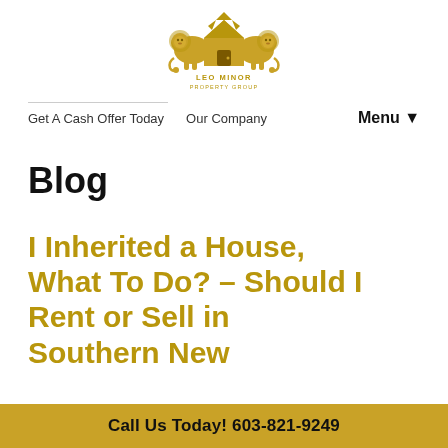[Figure (logo): Leo Minor Property Group logo — gold lion crest with house icon and text 'LEO MINOR PROPERTY GROUP']
Get A Cash Offer Today   Our Company   Menu ▼
Blog
I Inherited a House, What To Do? – Should I Rent or Sell in Southern New
Call Us Today! 603-821-9249